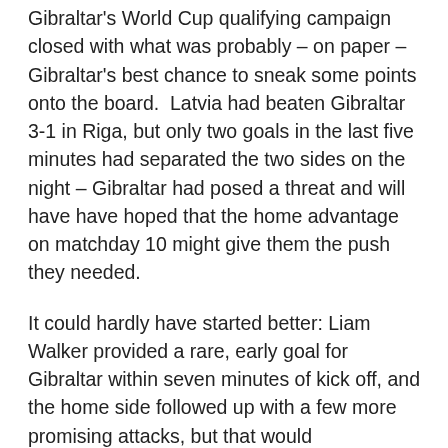Gibraltar's World Cup qualifying campaign closed with what was probably – on paper – Gibraltar's best chance to sneak some points onto the board.  Latvia had beaten Gibraltar 3-1 in Riga, but only two goals in the last five minutes had separated the two sides on the night – Gibraltar had posed a threat and will have have hoped that the home advantage on matchday 10 might give them the push they needed.
It could hardly have started better: Liam Walker provided a rare, early goal for Gibraltar within seven minutes of kick off, and the home side followed up with a few more promising attacks, but that would unfortunately be as good as it got.  A Latvia equaliser 25 minutes in saw a shift in dynamic that was further emphasised when De Barr had to leave the field after a collision.
He was replaced by Lee Casciaro in the 45th minute – a legend of local football and still a handy card for the